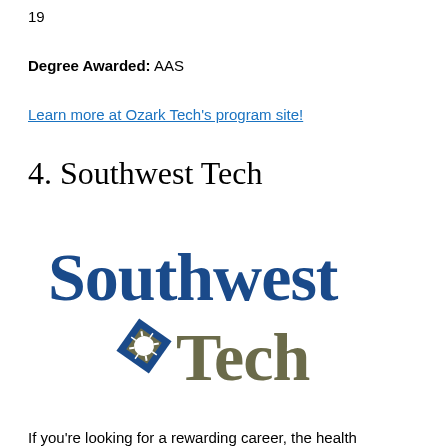...adjusted online fees as a result of COVID-19
Degree Awarded: AAS
Learn more at Ozark Tech's program site!
4. Southwest Tech
[Figure (logo): Southwest Tech logo — 'Southwest' in blue serif font above 'Tech' in gray with a blue and gray diamond/star graphic emblem]
If you're looking for a rewarding career, the health...